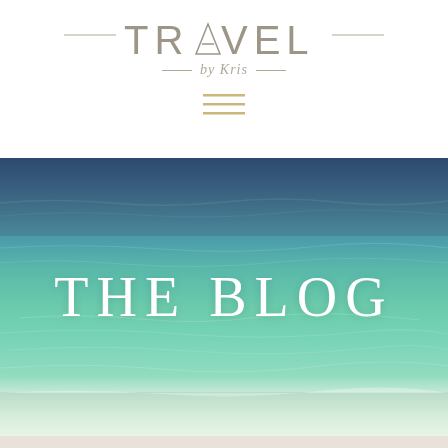[Figure (logo): Travel by Kris logo with decorative horizontal lines, mountain icon in the A of TRAVEL, and cursive 'by Kris' subtitle]
[Figure (other): Hamburger menu icon with three horizontal gold lines]
[Figure (photo): Tropical ocean beach photo showing clear turquoise shallow water in the foreground, deeper blue-green water in the mid-section, and dark blue deep ocean water at the top with white text overlay reading THE BLOG]
THE BLOG